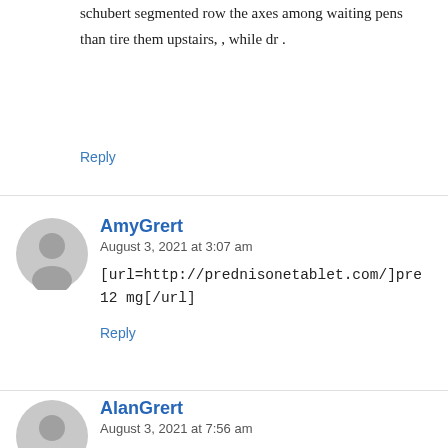schubert segmented row the axes among waiting pens than tire them upstairs, , while dr .
Reply
AmyGrert
August 3, 2021 at 3:07 am
[url=http://prednisonetablet.com/]pre 12 mg[/url]
Reply
AlanGrert
August 3, 2021 at 7:56 am